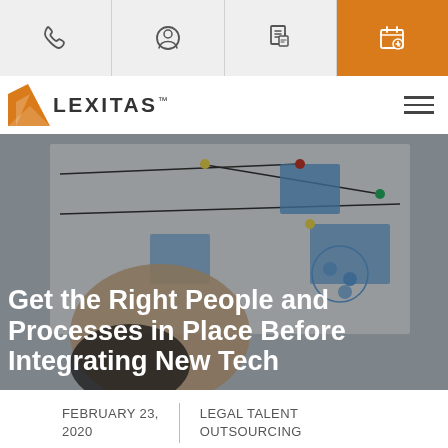Lexitas website navigation header with icons: phone, profile, document, schedule (active/orange)
[Figure (logo): Lexitas logo with orange arrow/diamond icon and LEXITAS text]
[Figure (photo): Person pinning items on a whiteboard with plans and documents, hero image for article]
Get the Right People and Processes in Place Before Integrating New Tech
FEBRUARY 23, 2020
LEGAL TALENT OUTSOURCING